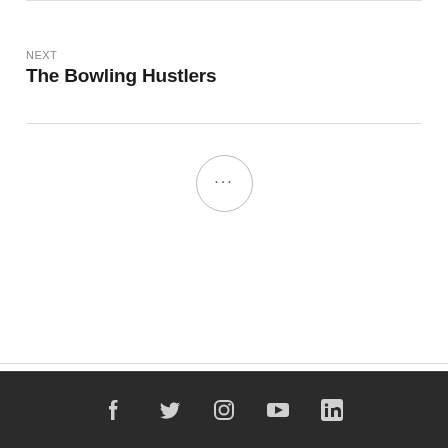NEXT
The Bowling Hustlers
[Figure (other): Ellipsis button circle with three dots (...)]
Social media icons: Facebook, Twitter, Instagram, YouTube, LinkedIn